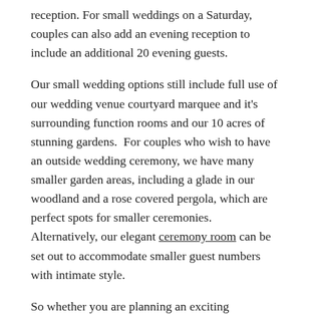reception. For small weddings on a Saturday, couples can also add an evening reception to include an additional 20 evening guests.
Our small wedding options still include full use of our wedding venue courtyard marquee and it's surrounding function rooms and our 10 acres of stunning gardens.  For couples who wish to have an outside wedding ceremony, we have many smaller garden areas, including a glade in our woodland and a rose covered pergola, which are perfect spots for smaller ceremonies.  Alternatively, our elegant ceremony room can be set out to accommodate smaller guest numbers with intimate style.
So whether you are planning an exciting elopement